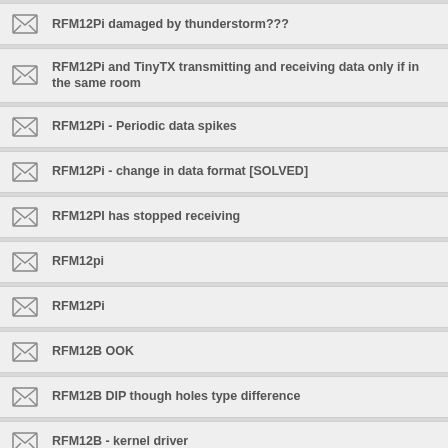RFM12Pi damaged by thunderstorm???
RFM12Pi and TinyTX transmitting and receiving data only if in the same room
RFM12Pi - Periodic data spikes
RFM12Pi - change in data format [SOLVED]
RFM12PI has stopped receiving
RFM12pi
RFM12Pi
RFM12B OOK
RFM12B DIP though holes type difference
RFM12B - kernel driver
RFM12B - Distance - How to improve distance between emonTX and EmonGLCD